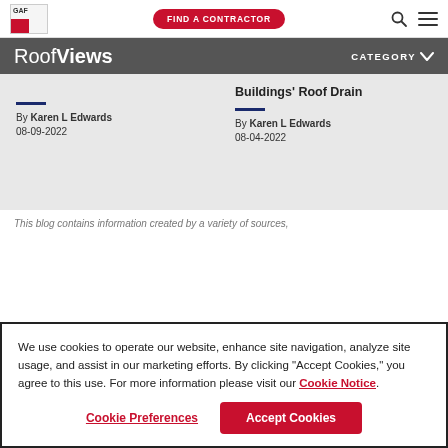GAF | FIND A CONTRACTOR | [search] [menu]
RoofViews | CATEGORY
Buildings' Roof Drain
By Karen L Edwards
08-09-2022
By Karen L Edwards
08-04-2022
This blog contains information created by a variety of sources,
We use cookies to operate our website, enhance site navigation, analyze site usage, and assist in our marketing efforts. By clicking "Accept Cookies," you agree to this use. For more information please visit our Cookie Notice.
Cookie Preferences | Accept Cookies